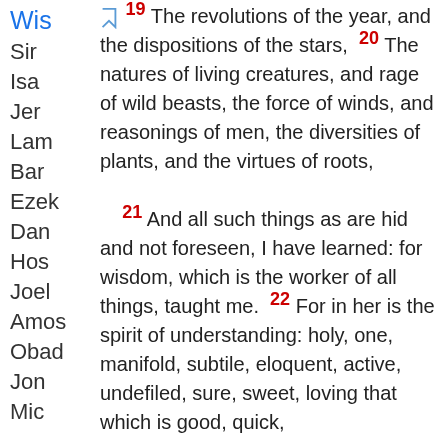Wis
Sir
Isa
Jer
Lam
Bar
Ezek
Dan
Hos
Joel
Amos
Obad
Jon
Mic
19 The revolutions of the year, and the dispositions of the stars, 20 The natures of living creatures, and rage of wild beasts, the force of winds, and reasonings of men, the diversities of plants, and the virtues of roots, 21 And all such things as are hid and not foreseen, I have learned: for wisdom, which is the worker of all things, taught me. 22 For in her is the spirit of understanding: holy, one, manifold, subtile, eloquent, active, undefiled, sure, sweet, loving that which is good, quick, which nothing hindereth, beneficent, 23 Gentle, kind, steadfast, assured, secure, having all power, overseeing all things, and containing